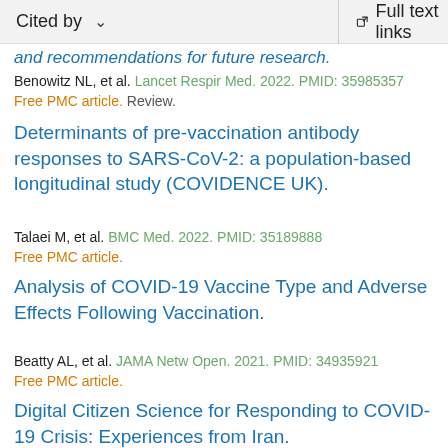Cited by   ∨   Full text links
and recommendations for future research.
Benowitz NL, et al. Lancet Respir Med. 2022. PMID: 35985357
Free PMC article. Review.
Determinants of pre-vaccination antibody responses to SARS-CoV-2: a population-based longitudinal study (COVIDENCE UK).
Talaei M, et al. BMC Med. 2022. PMID: 35189888
Free PMC article.
Analysis of COVID-19 Vaccine Type and Adverse Effects Following Vaccination.
Beatty AL, et al. JAMA Netw Open. 2021. PMID: 34935921
Free PMC article.
Digital Citizen Science for Responding to COVID-19 Crisis: Experiences from Iran.
Vahidi H, et al. Int J Environ Res Public Health. 2021.
PMID: 34574591 Free PMC article.